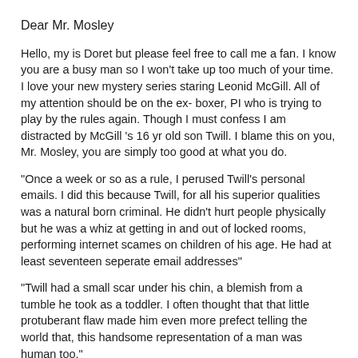Dear Mr. Mosley
Hello, my is Doret but please feel free to call me a fan. I know you are a busy man so I won't take up too much of your time. I love your new mystery series staring Leonid McGill. All of my attention should be on the ex- boxer, PI who is trying to play by the rules again. Though I must confess I am distracted by McGill 's 16 yr old son Twill. I blame this on you, Mr. Mosley, you are simply too good at what you do.
"Once a week or so as a rule, I perused Twill's personal emails. I did this because Twill, for all his superior qualities was a natural born criminal. He didn't hurt people physically but he was a whiz at getting in and out of locked rooms, performing internet scames on children of his age. He had at least seventeen seperate email addresses"
"Twill had a small scar under his chin, a blemish from a tumble he took as a toddler. I often thought that that little protuberant flaw made him even more prefect telling the world that, this handsome representation of a man was human too."